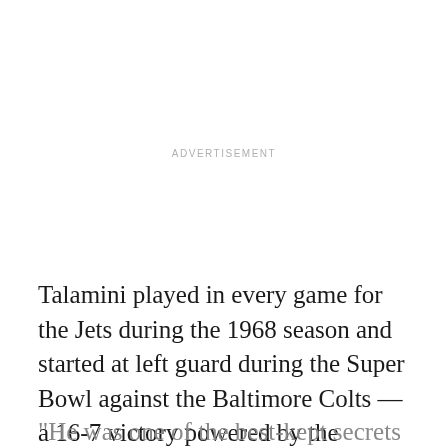ADVERTISEMENT
Talamini played in every game for the Jets during the 1968 season and started at left guard during the Super Bowl against the Baltimore Colts — a 16-7 victory powered by the offensive line and New York's running game, which rolled up 142 yards rushing.
“He was one of the best-kept secrets for us,”